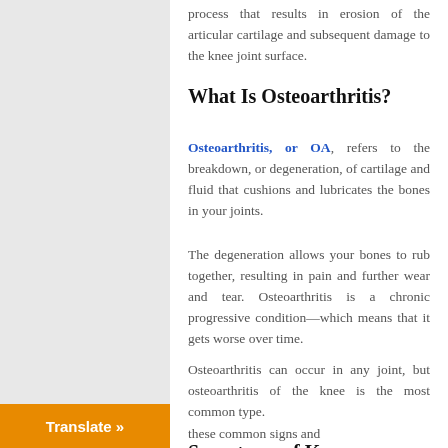process that results in erosion of the articular cartilage and subsequent damage to the knee joint surface.
What Is Osteoarthritis?
Osteoarthritis, or OA, refers to the breakdown, or degeneration, of cartilage and fluid that cushions and lubricates the bones in your joints.
The degeneration allows your bones to rub together, resulting in pain and further wear and tear. Osteoarthritis is a chronic progressive condition—which means that it gets worse over time.
Osteoarthritis can occur in any joint, but osteoarthritis of the knee is the most common type.
Symptoms of Knee Osteoarthritis
these common signs and